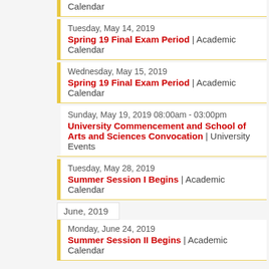Calendar
Tuesday, May 14, 2019 — Spring 19 Final Exam Period | Academic Calendar
Wednesday, May 15, 2019 — Spring 19 Final Exam Period | Academic Calendar
Sunday, May 19, 2019 08:00am - 03:00pm — University Commencement and School of Arts and Sciences Convocation | University Events
Tuesday, May 28, 2019 — Summer Session I Begins | Academic Calendar
June, 2019
Monday, June 24, 2019 — Summer Session II Begins | Academic Calendar